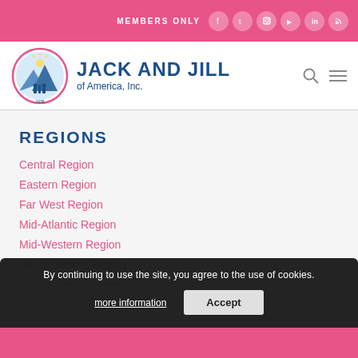MEMBERS ONLY
[Figure (logo): Jack and Jill of America, Inc. circular logo with mountains and family silhouettes]
JACK AND JILL of America, Inc.
REGIONS
Central Region
Eastern Region
Far West Region
Mid-Atlantic Region
Mid-Western Region
South Central Region
Southeastern Region
By continuing to use the site, you agree to the use of cookies.
more information   Accept